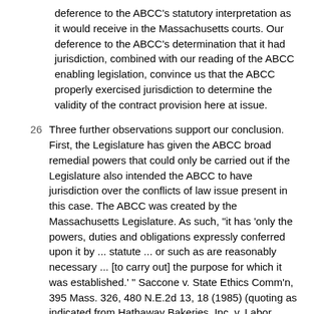deference to the ABCC's statutory interpretation as it would receive in the Massachusetts courts. Our deference to the ABCC's determination that it had jurisdiction, combined with our reading of the ABCC enabling legislation, convince us that the ABCC properly exercised jurisdiction to determine the validity of the contract provision here at issue.
26 Three further observations support our conclusion. First, the Legislature has given the ABCC broad remedial powers that could only be carried out if the Legislature also intended the ABCC to have jurisdiction over the conflicts of law issue present in this case. The ABCC was created by the Massachusetts Legislature. As such, "it has 'only the powers, duties and obligations expressly conferred upon it by ... statute ... or such as are reasonably necessary ... [to carry out] the purpose for which it was established.' " Saccone v. State Ethics Comm'n, 395 Mass. 326, 480 N.E.2d 13, 18 (1985) (quoting as indicated from Hathaway Bakeries, Inc. v. Labor Relations Comm'n, 316 Mass. 136, 141, 55 N.E.2d 254, 256 (1944)). In the dispute before us, no statute expressly authorizes the ABCC to resolve legal disputes that go beyond the application of Massachusetts' liquor laws to a particular factual setting. Nevertheless, "[a]n agency's powers are shaped by its organic statute taken as a whole and need not necessarily be traced to